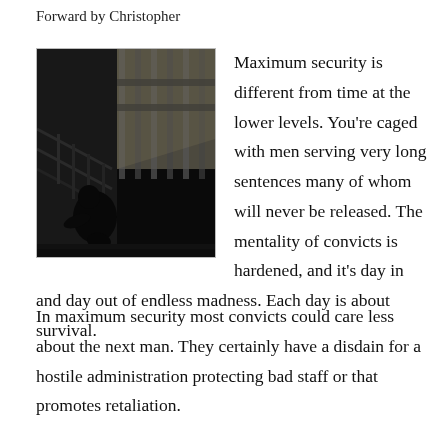Forward by Christopher
[Figure (photo): Silhouette of a person sitting hunched behind prison bars in a dark cell]
Maximum security is different from time at the lower levels. You're caged with men serving very long sentences many of whom will never be released. The mentality of convicts is hardened, and it's day in and day out of endless madness. Each day is about survival.
In maximum security most convicts could care less about the next man. They certainly have a disdain for a hostile administration protecting bad staff or that promotes retaliation.